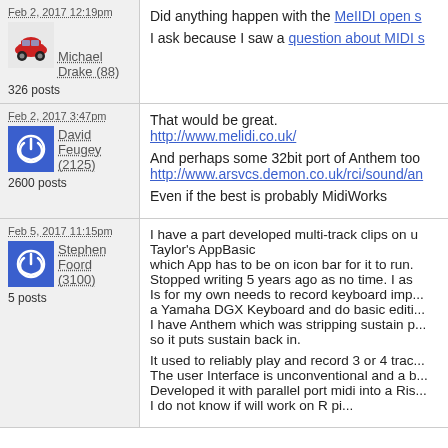Feb 2, 2017 12:19pm
Michael Drake (88)
326 posts
Did anything happen with the MeIIDI open s... I ask because I saw a question about MIDI s...
Feb 2, 2017 3:47pm
David Feugey (2125)
2600 posts
That would be great.
http://www.melidi.co.uk/
And perhaps some 32bit port of Anthem too
http://www.arsvcs.demon.co.uk/rci/sound/an...
Even if the best is probably MidiWorks
Feb 5, 2017 11:15pm
Stephen Foord (3100)
5 posts
I have a part developed multi-track clips on u... Taylor's AppBasic which App has to be on icon bar for it to run. Stopped writing 5 years ago as no time. I as... Is for my own needs to record keyboard imp... a Yamaha DGX Keyboard and do basic editi... I have Anthem which was stripping sustain p... so it puts sustain back in.

It used to reliably play and record 3 or 4 trac... The user Interface is unconventional and a b... Developed it with parallel port midi into a Ris... I do not know if will work on R pi...